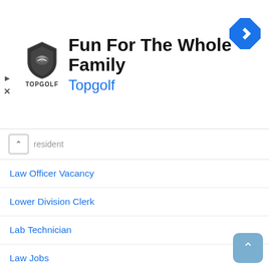[Figure (screenshot): Topgolf advertisement banner with logo, headline 'Fun For The Whole Family', brand name 'Topgolf', navigation icon, and ad controls]
resident
Law Officer Vacancy
Lower Division Clerk
Lab Technician
Law Jobs
Lower Division Clerk
Medical Officer Vacancy
Medical Vacancies
Multi Tasking Staff (MTS)
Music Teacher Vacancy
OT Technician Vacancy
Peon Govt Vacancy